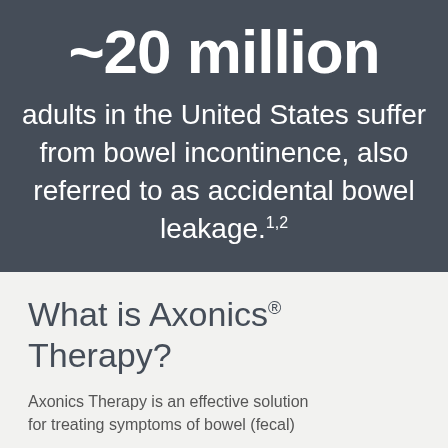~20 million
adults in the United States suffer from bowel incontinence, also referred to as accidental bowel leakage.1,2
What is Axonics® Therapy?
Axonics Therapy is an effective solution for treating symptoms of bowel (fecal)